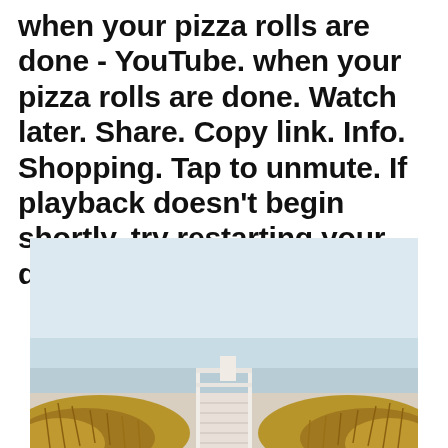when your pizza rolls are done - YouTube. when your pizza rolls are done. Watch later. Share. Copy link. Info. Shopping. Tap to unmute. If playback doesn't begin shortly, try restarting your device.
[Figure (photo): A beach scene viewed from behind beach grasses and dunes, with a white wooden boardwalk/walkway leading toward the ocean. The sky is light grey/blue and the sea is calm. Dried brown/golden beach grass is visible on both sides in the foreground.]